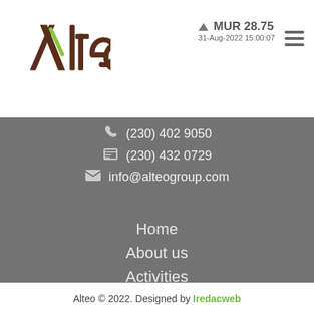[Figure (logo): Alteo company logo with stylized A and slash mark in brown/dark red color with green accent]
▲ MUR 28.75
31-Aug-2022 15:00:07
(230) 402 9050
(230) 432 0729
info@alteogroup.com
Home
About us
Activities
Investor Relations
Community Engagement
Stories
Alteo © 2022. Designed by Iredacweb